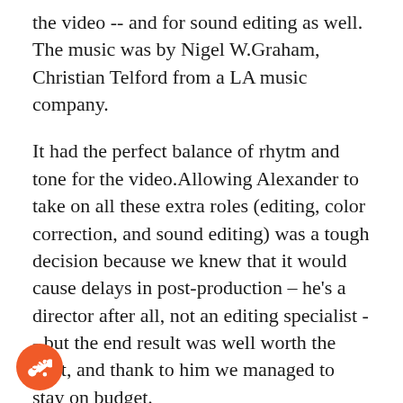the video -- and for sound editing as well. The music was by Nigel W.Graham, Christian Telford from a LA music company.
It had the perfect balance of rhytm and tone for the video.Allowing Alexander to take on all these extra roles (editing, color correction, and sound editing) was a tough decision because we knew that it would cause delays in post-production – he's a director after all, not an editing specialist -- but the end result was well worth the wait, and thank to him we managed to stay on budget.